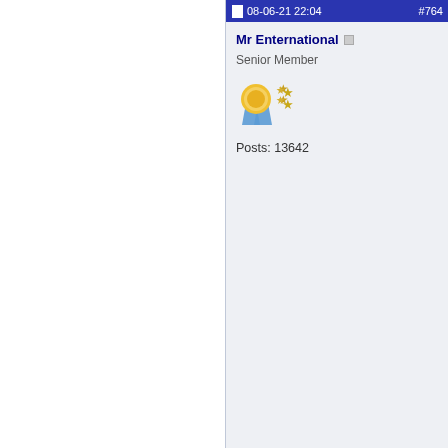08-06-21 22:04   #764
Mr Enternational
Senior Member
[Figure (illustration): Forum badge/award icon: a gold ribbon/medal award badge with blue ribbon and two gold stars]
Posts: 13642